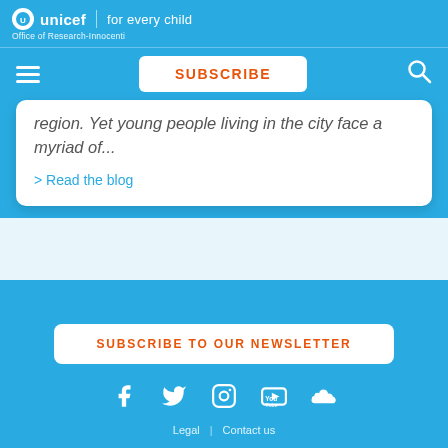unicef | for every child — Office of Research-Innocenti
SUBSCRIBE
region. Yet young people living in the city face a myriad of...
> Read the blog
SUBSCRIBE TO OUR NEWSLETTER
Legal | Contact us